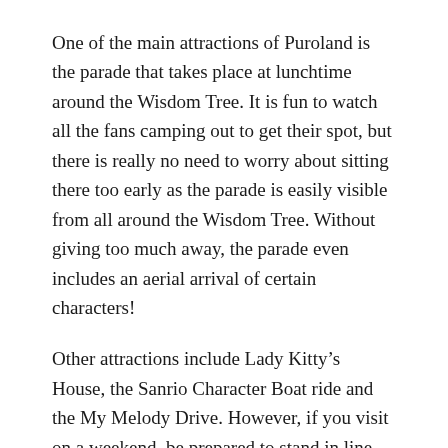One of the main attractions of Puroland is the parade that takes place at lunchtime around the Wisdom Tree. It is fun to watch all the fans camping out to get their spot, but there is really no need to worry about sitting there too early as the parade is easily visible from all around the Wisdom Tree. Without giving too much away, the parade even includes an aerial arrival of certain characters!
Other attractions include Lady Kitty’s House, the Sanrio Character Boat ride and the My Melody Drive. However, if you visit on a weekend, be prepared to stand in line. Character meet and greets are also available on the fourth floor during the designated time slots.